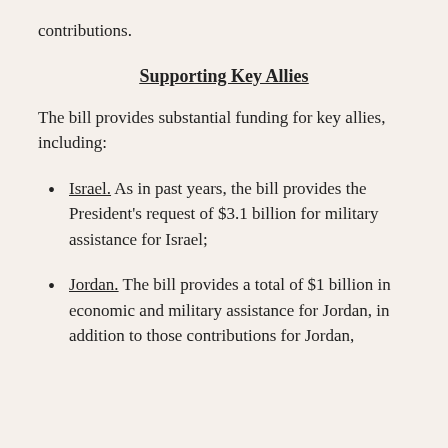contributions.
Supporting Key Allies
The bill provides substantial funding for key allies, including:
Israel.  As in past years, the bill provides the President’s request of $3.1 billion for military assistance for Israel;
Jordan.  The bill provides a total of $1 billion in economic and military assistance for Jordan, in addition to those contributions for Jordan,